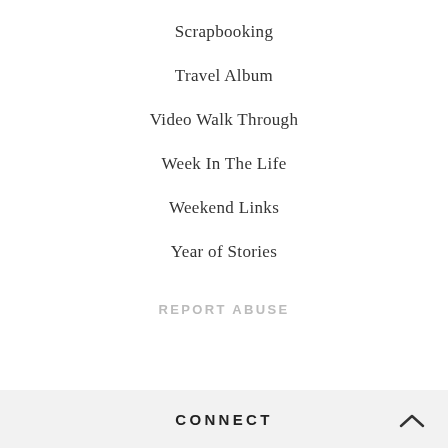Scrapbooking
Travel Album
Video Walk Through
Week In The Life
Weekend Links
Year of Stories
REPORT ABUSE
CONNECT